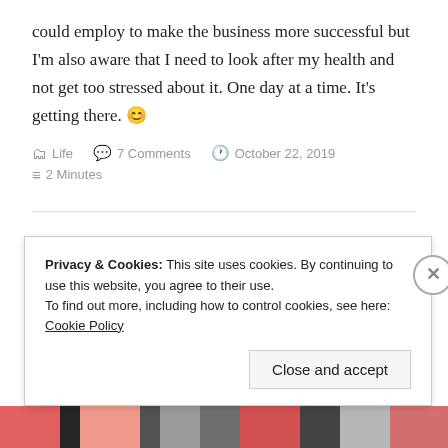could employ to make the business more successful but I'm also aware that I need to look after my health and not get too stressed about it. One day at a time. It's getting there. 😊
Life  7 Comments  October 22, 2019  2 Minutes
Busy, busy, busy!
Privacy & Cookies: This site uses cookies. By continuing to use this website, you agree to their use. To find out more, including how to control cookies, see here: Cookie Policy